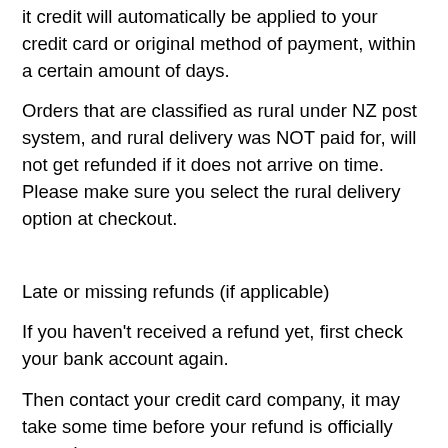it credit will automatically be applied to your credit card or original method of payment, within a certain amount of days.
Orders that are classified as rural under NZ post system, and rural delivery was NOT paid for, will not get refunded if it does not arrive on time. Please make sure you select the rural delivery option at checkout.
Late or missing refunds (if applicable)
If you haven't received a refund yet, first check your bank account again.
Then contact your credit card company, it may take some time before your refund is officially posted.
Next, contact your bank. There is often some processing time before a refund is posted.
If you've done all of this and you still have not received your